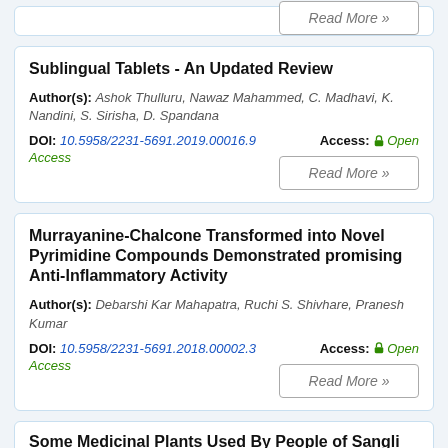Sublingual Tablets - An Updated Review
Author(s): Ashok Thulluru, Nawaz Mahammed, C. Madhavi, K. Nandini, S. Sirisha, D. Spandana
DOI: 10.5958/2231-5691.2019.00016.9   Access: Open Access
Murrayanine-Chalcone Transformed into Novel Pyrimidine Compounds Demonstrated promising Anti-Inflammatory Activity
Author(s): Debarshi Kar Mahapatra, Ruchi S. Shivhare, Pranesh Kumar
DOI: 10.5958/2231-5691.2018.00002.3   Access: Open Access
Some Medicinal Plants Used By People of Sangli District, Maharashtra